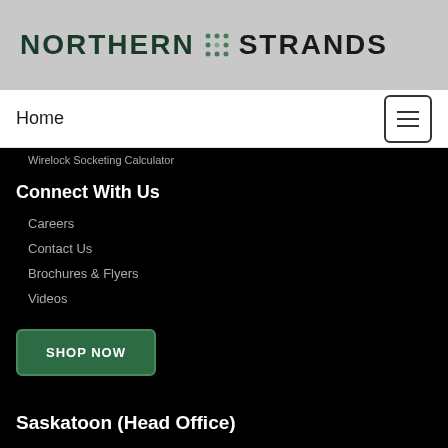[Figure (logo): Northern Strands logo with dark green text and dot grid icon]
Home
Wirelock Socketing Calculator
Connect With Us
Careers
Contact Us
Brochures & Flyers
Videos
SHOP NOW
Saskatoon (Head Office)
Phone: (306) 242-7073
Fax: (306) 934-2029